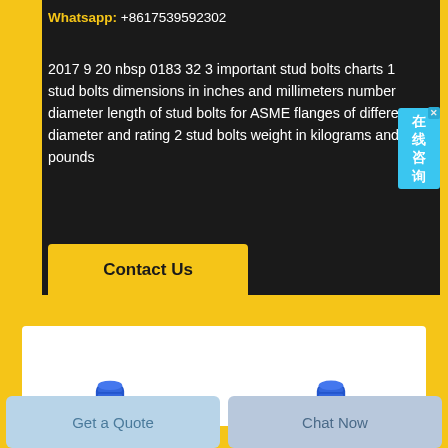Whatsapp: +8617539592302
2017 9 20 nbsp 0183 32 3 important stud bolts charts 1 stud bolts dimensions in inches and millimeters number diameter length of stud bolts for ASME flanges of different diameter and rating 2 stud bolts weight in kilograms and pounds
Contact Us
[Figure (photo): White card section with two blue threaded stud bolts visible at the bottom]
Get a Quote
Chat Now